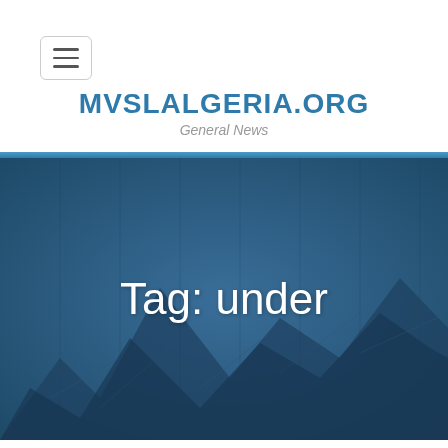[Figure (screenshot): Hamburger menu button icon with three horizontal lines inside a rounded rectangle border]
MVSLALGERIA.ORG
General News
[Figure (photo): Mountain landscape photo with a dark blue overlay, used as a hero background image]
Tag: under